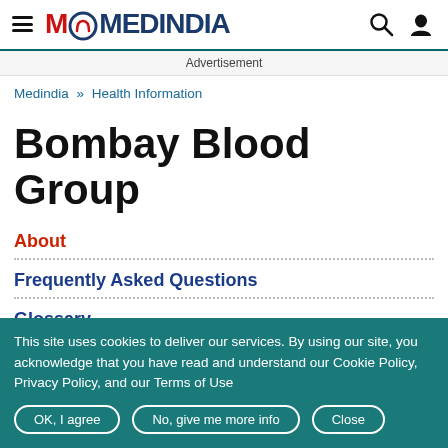MEDINDIA
Advertisement
Medindia » Health Information
Bombay Blood Group
About
Frequently Asked Questions
Glossary
Latest Publications
This site uses cookies to deliver our services. By using our site, you acknowledge that you have read and understand our Cookie Policy, Privacy Policy, and our Terms of Use